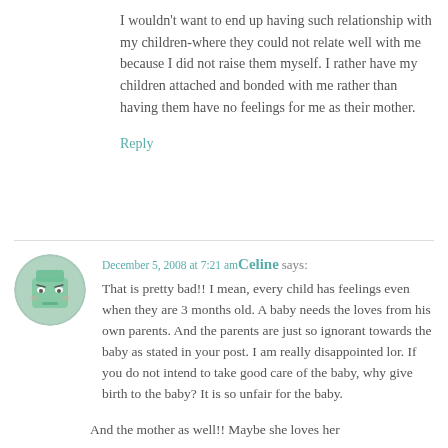I wouldn't want to end up having such relationship with my children-where they could not relate well with me because I did not raise them myself. I rather have my children attached and bonded with me rather than having them have no feelings for me as their mother.
Reply
[Figure (illustration): Circular avatar with sad/grumpy cartoon face, green teal tones]
December 5, 2008 at 7:21 am Celine says:
That is pretty bad!! I mean, every child has feelings even when they are 3 months old. A baby needs the loves from his own parents. And the parents are just so ignorant towards the baby as stated in your post. I am really disappointed lor. If you do not intend to take good care of the baby, why give birth to the baby? It is so unfair for the baby.
And the mother as well!! Maybe she loves her